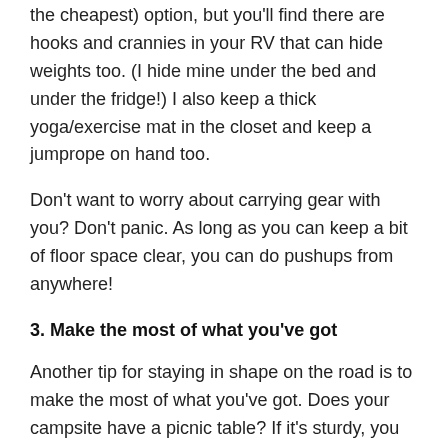the cheapest) option, but you'll find there are hooks and crannies in your RV that can hide weights too. (I hide mine under the bed and under the fridge!) I also keep a thick yoga/exercise mat in the closet and keep a jumprope on hand too.
Don't want to worry about carrying gear with you? Don't panic. As long as you can keep a bit of floor space clear, you can do pushups from anywhere!
3. Make the most of what you've got
Another tip for staying in shape on the road is to make the most of what you've got. Does your campsite have a picnic table? If it's sturdy, you can lay on it for weight-lifting! Does your campground have space to walk a dog? Maybe you can run sprints!